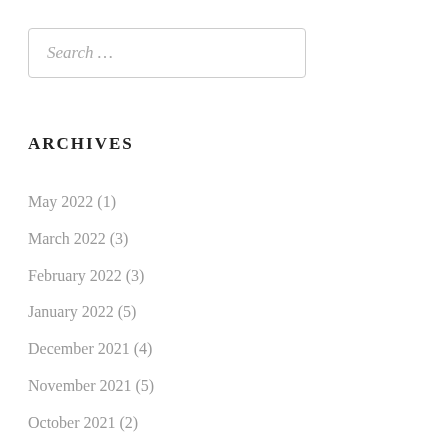Search …
ARCHIVES
May 2022 (1)
March 2022 (3)
February 2022 (3)
January 2022 (5)
December 2021 (4)
November 2021 (5)
October 2021 (2)
September 2021 (4)